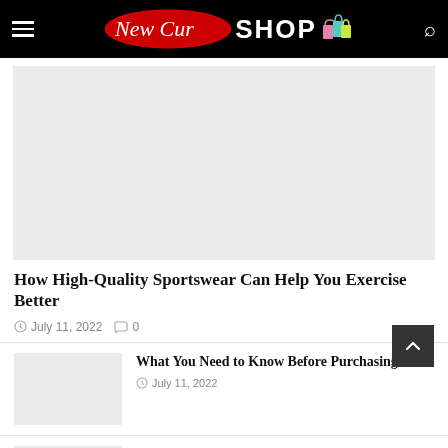New Cur SHOP
[Figure (photo): Gray placeholder image for article hero]
How High-Quality Sportswear Can Help You Exercise Better
July 11, 2022   0
What You Need to Know Before Purchasing...
July 11, 2022
CONSIDERATIONS WHEN SHOPPING FOR A